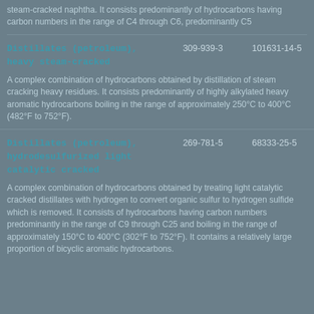steam-cracked naphtha. It consists predominantly of hydrocarbons having carbon numbers in the range of C4 through C6, predominantly C5
| Substance Name | EC No. | CAS No. |
| --- | --- | --- |
| Distillates (petroleum), heavy steam-cracked | 309-939-3 | 101631-14-5 |
| A complex combination of hydrocarbons obtained by distillation of steam cracking heavy residues. It consists predominantly of highly alkylated heavy aromatic hydrocarbons boiling in the range of approximately 250°C to 400°C (482°F to 752°F). |  |  |
| Distillates (petroleum), hydrodesulfurized light catalytic cracked | 269-781-5 | 68333-25-5 |
| A complex combination of hydrocarbons obtained by treating light catalytic cracked distillates with hydrogen to convert organic sulfur to hydrogen sulfide which is removed. It consists of hydrocarbons having carbon numbers predominantly in the range of C9 through C25 and boiling in the range of approximately 150°C to 400°C (302°F to 752°F). It contains a relatively large proportion of bicyclic aromatic hydrocarbons. |  |  |